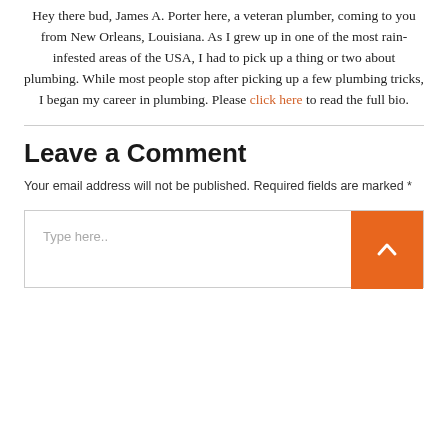Hey there bud, James A. Porter here, a veteran plumber, coming to you from New Orleans, Louisiana. As I grew up in one of the most rain-infested areas of the USA, I had to pick up a thing or two about plumbing. While most people stop after picking up a few plumbing tricks, I began my career in plumbing. Please click here to read the full bio.
Leave a Comment
Your email address will not be published. Required fields are marked *